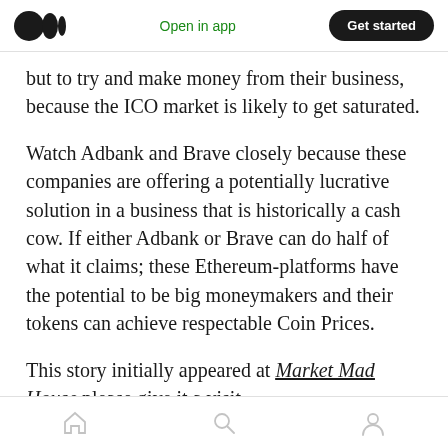Open in app | Get started
but to try and make money from their business, because the ICO market is likely to get saturated.
Watch Adbank and Brave closely because these companies are offering a potentially lucrative solution in a business that is historically a cash cow. If either Adbank or Brave can do half of what it claims; these Ethereum-platforms have the potential to be big moneymakers and their tokens can achieve respectable Coin Prices.
This story initially appeared at Market Mad House please give it a visit.
Home | Search | Profile